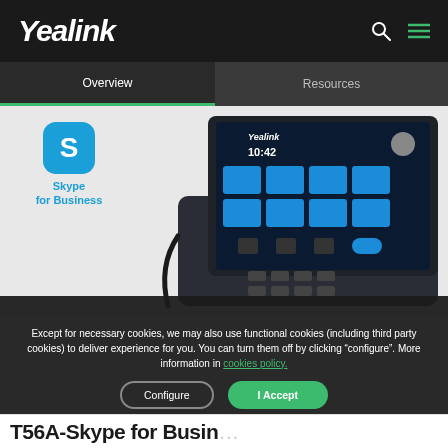Yealink
Overview | Resources
[Figure (screenshot): Yealink T56A IP phone with Skype for Business logo, showing touchscreen interface with blue tiles]
Except for necessary cookies, we may also use functional cookies (including third party cookies) to deliver experience for you. You can turn them off by clicking “configure”. More information in cookies policy.
Configure | I Accept
T56A-Skype for Busin...